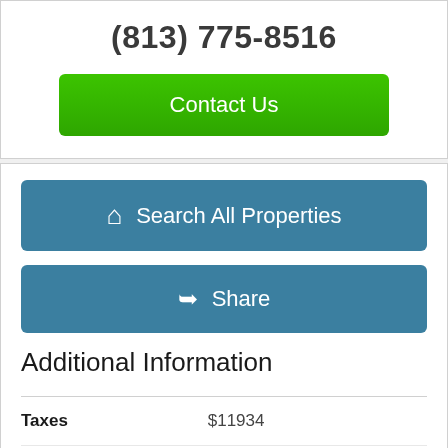(813) 775-8516
Contact Us
Search All Properties
Share
Additional Information
|  |  |
| --- | --- |
| Taxes | $11934 |
| Minimum Lease | 1 Month |